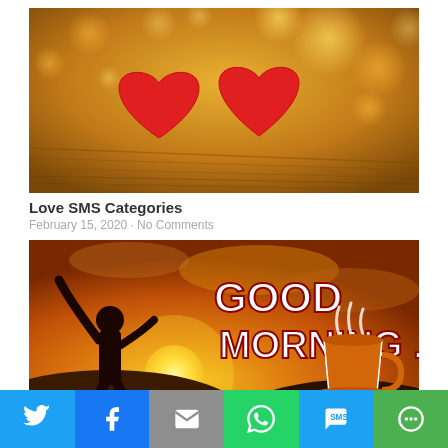[Figure (photo): Two red heart shapes on a wooden surface with warm bokeh background]
Love SMS Categories
February 15, 2020 · No Comments
[Figure (photo): Good Morning greeting image with silhouette of person, sunrise, and coffee cup. Text reads 'GOOD MORNING ...']
[Figure (infographic): Social share bar with Twitter, Facebook, Email, WhatsApp, SMS, and More buttons]